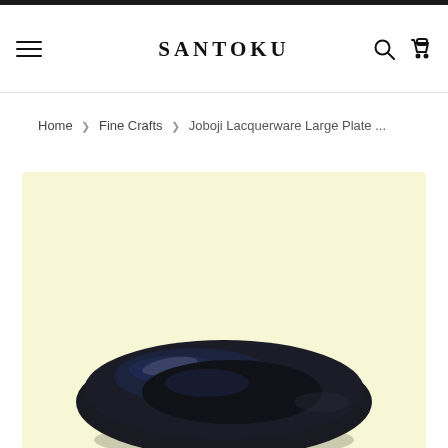SANTOKU
Home > Fine Crafts > Joboji Lacquerware Large Plate ...
[Figure (photo): Product photo of a Joboji Lacquerware Large Plate on a pale yellow background, showing the top edge of a dark lacquered plate with deep blue-black finish]